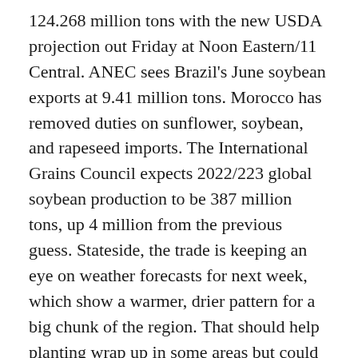124.268 million tons with the new USDA projection out Friday at Noon Eastern/11 Central. ANEC sees Brazil's June soybean exports at 9.41 million tons. Morocco has removed duties on sunflower, soybean, and rapeseed imports. The International Grains Council expects 2022/223 global soybean production to be 387 million tons, up 4 million from the previous guess. Stateside, the trade is keeping an eye on weather forecasts for next week, which show a warmer, drier pattern for a big chunk of the region. That should help planting wrap up in some areas but could inhibit early development.
Corn was mixed, mostly higher. Corn consolidated, also looking at the fundamentals along with some overnight storm damage in parts of the Midwest. With U.S. planting statistically nearly wrapped up, the trade is monitoring development conditions, with some forecasts showing a warmer, drier